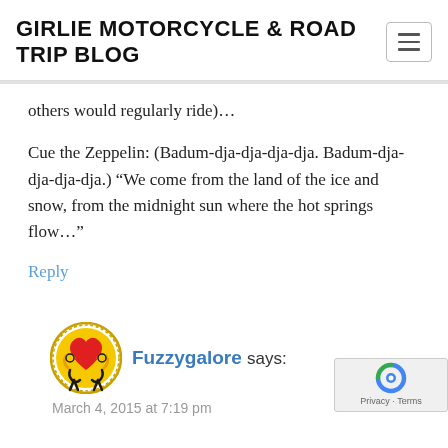GIRLIE MOTORCYCLE & ROAD TRIP BLOG
others would regularly ride)…
Cue the Zeppelin: (Badum-dja-dja-dja-dja. Badum-dja-dja-dja-dja.) “We come from the land of the ice and snow, from the midnight sun where the hot springs flow…”
Reply
Fuzzygalore says:
March 4, 2015 at 7:19 pm